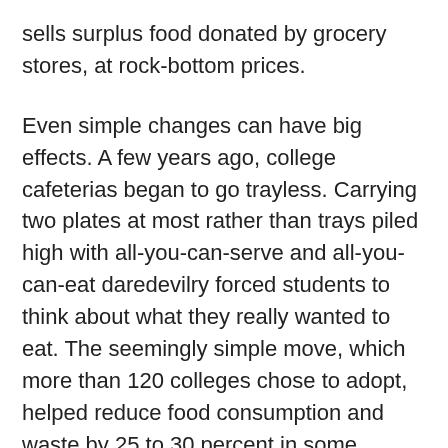sells surplus food donated by grocery stores, at rock-bottom prices.
Even simple changes can have big effects. A few years ago, college cafeterias began to go trayless. Carrying two plates at most rather than trays piled high with all-you-can-serve and all-you-can-eat daredevilry forced students to think about what they really wanted to eat. The seemingly simple move, which more than 120 colleges chose to adopt, helped reduce food consumption and waste by 25 to 30 percent in some colleges.
Still, waste is inevitable. "There's never going to be some ideal or perfect way to eliminate it all, but it's pretty egregious right now," Olson-Sawyer says. More so, perhaps, because according to the United Nations